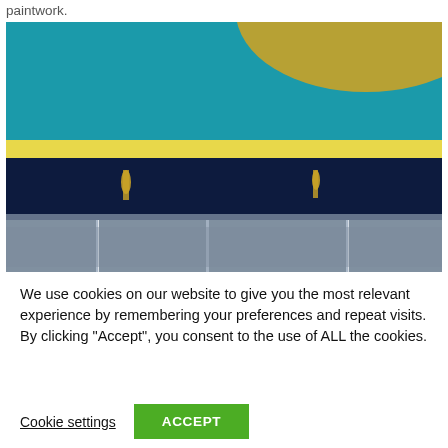paintwork.
[Figure (photo): Close-up photograph of layered paintwork showing teal/turquoise paint at top with a gold curved edge, a yellow horizontal stripe, a dark navy blue section with golden drips, and a grey textured bottom section with glittery vertical streaks.]
We use cookies on our website to give you the most relevant experience by remembering your preferences and repeat visits. By clicking "Accept", you consent to the use of ALL the cookies.
Cookie settings
ACCEPT